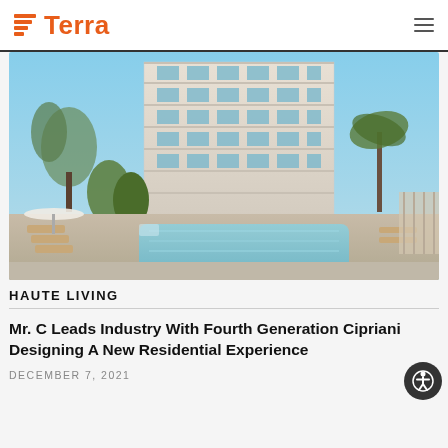Terra
[Figure (photo): Architectural rendering of a modern luxury residential building with balconies and floor-to-ceiling glass, surrounded by palm trees and tropical landscaping, with a resort-style pool and lounge chairs in the foreground.]
HAUTE LIVING
Mr. C Leads Industry With Fourth Generation Cipriani Designing A New Residential Experience
DECEMBER 7, 2021